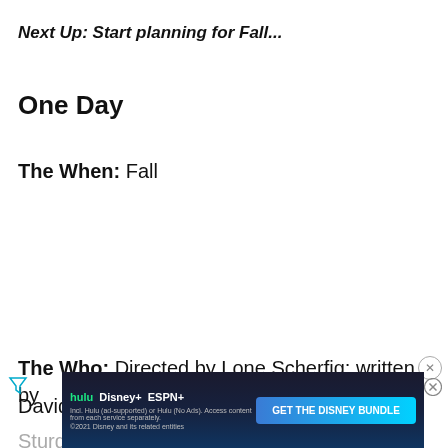Next Up: Start planning for Fall...
One Day
The When: Fall
The Who: Directed by Lone Scherfig; written by David Nicholls; starring Anne Hathaway, Jim Sturg...
[Figure (other): Disney Bundle advertisement banner with Hulu, Disney+, ESPN+ logos and 'GET THE DISNEY BUNDLE' call-to-action button]